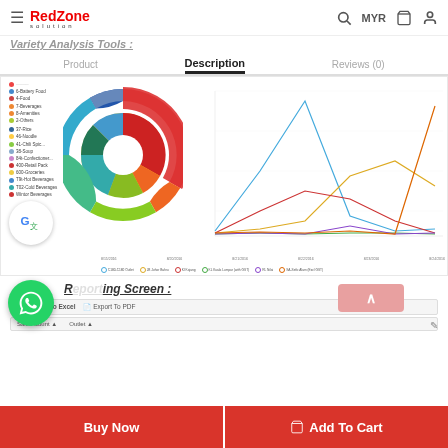RedZone Solution — MYR
Variety Analysis Tools :
Product   Description   Reviews (0)
[Figure (other): Dashboard screenshot showing a donut/pie chart on left with colored segments and legend, and a multi-line chart on right plotting sales data over dates from 8/15/2016 to 8/24/2016 for multiple outlets including C180-C180 Outlet, JB Johor Bahru, KI Kajang, KL Kuala Lumpur (with GST), RL Nilai, SA-Sefic Alam (Excl GST).]
Reporting Screen :
Export To Excel   Export To PDF
Buy Now
Add To Cart